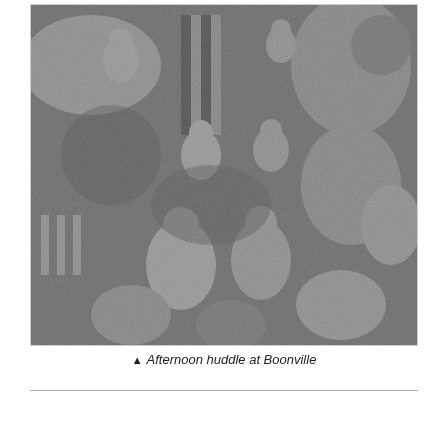[Figure (photo): Black and white grainy newspaper photograph showing a crowd of people in an outdoor afternoon huddle scene at Boonville. Multiple figures visible, some in striped clothing, gathered together in what appears to be a rocky or uneven terrain setting.]
▲ Afternoon huddle at Boonville